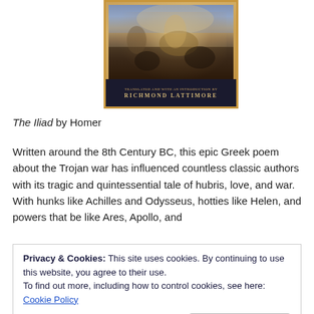[Figure (illustration): Book cover of The Iliad, showing a classical painting of a battle scene with figures on horseback and mythological imagery. Bottom of cover reads 'TRANSLATED AND WITH AN INTRODUCTION BY RICHMOND LATTIMORE' in gold lettering on dark background.]
The Iliad by Homer
Written around the 8th Century BC, this epic Greek poem about the Trojan war has influenced countless classic authors with its tragic and quintessential tale of hubris, love, and war. With hunks like Achilles and Odysseus, hotties like Helen, and powers that be like Ares, Apollo, and
Privacy & Cookies: This site uses cookies. By continuing to use this website, you agree to their use.
To find out more, including how to control cookies, see here: Cookie Policy
Goddess of Yesterday by Caroline B. Cooney